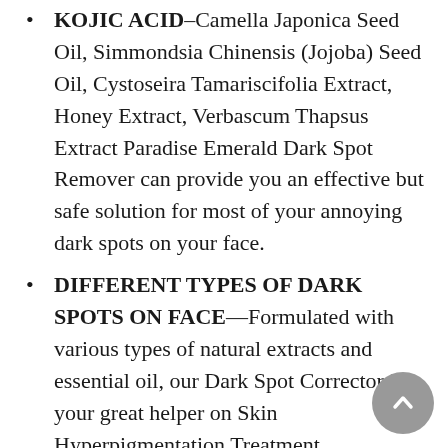KOJIC ACID–Camella Japonica Seed Oil, Simmondsia Chinensis (Jojoba) Seed Oil, Cystoseira Tamariscifolia Extract, Honey Extract, Verbascum Thapsus Extract Paradise Emerald Dark Spot Remover can provide you an effective but safe solution for most of your annoying dark spots on your face.
DIFFERENT TYPES OF DARK SPOTS ON FACE—Formulated with various types of natural extracts and essential oil, our Dark Spot Corrector is your great helper on Skin Hyperpigmentation Treatment.
ALL SKIN TYPES—Paradise Emerald